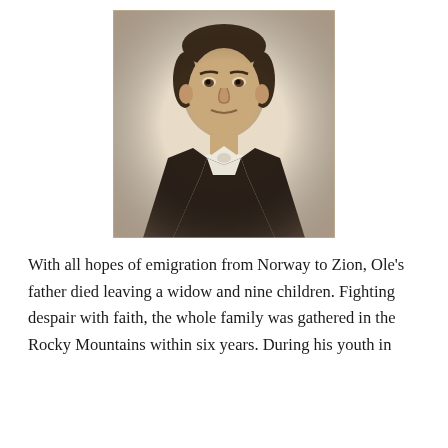[Figure (photo): Sepia-toned portrait photograph of a man in a dark suit and white bow tie, looking directly at the camera with a neutral expression. The photo has a vignette effect with a light cream/beige background.]
With all hopes of emigration from Norway to Zion, Ole's father died leaving a widow and nine children. Fighting despair with faith, the whole family was gathered in the Rocky Mountains within six years. During his youth in